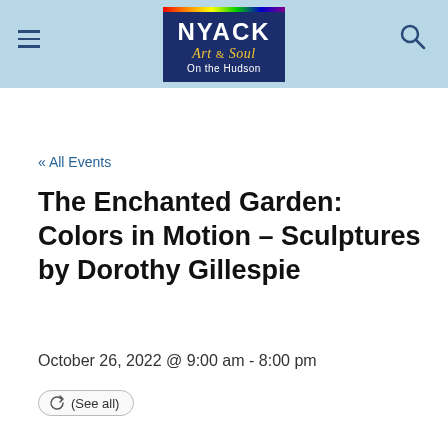NYACK Art & Soul On the Hudson
« All Events
The Enchanted Garden: Colors in Motion – Sculptures by Dorothy Gillespie
October 26, 2022 @ 9:00 am - 8:00 pm
(See all)